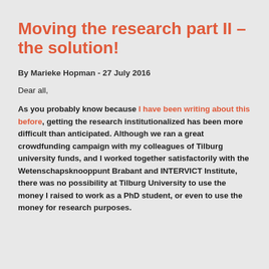Moving the research part II – the solution!
By Marieke Hopman - 27 July 2016
Dear all,
As you probably know because I have been writing about this before, getting the research institutionalized has been more difficult than anticipated. Although we ran a great crowdfunding campaign with my colleagues of Tilburg university funds, and I worked together satisfactorily with the Wetenschapsknooppunt Brabant and INTERVICT Institute, there was no possibility at Tilburg University to use the money I raised to work as a PhD student, or even to use the money for research purposes.